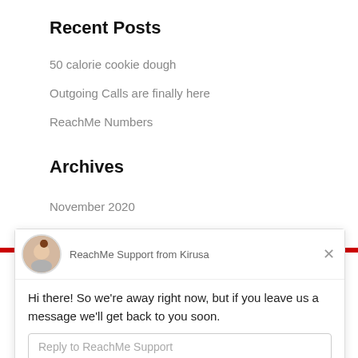Recent Posts
50 calorie cookie dough
Outgoing Calls are finally here
ReachMe Numbers
Archives
November 2020
r 2018
[Figure (screenshot): Chat widget from Drift showing ReachMe Support from Kirusa with an away message and reply input field]
ReachMe Support from Kirusa
Hi there! So we're away right now, but if you leave us a message we'll get back to you soon.
Reply to ReachMe Support
Chat ⚡ by Drift